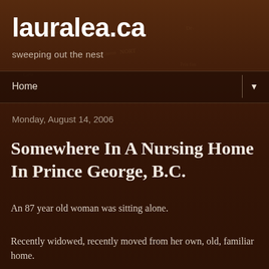lauralea.ca
sweeping out the nest
Home ▼
Monday, August 14, 2006
Somewhere In A Nursing Home In Prince George, B.C.
An 87 year old woman was sitting alone.
Recently widowed, recently moved from her own, old, familiar home.